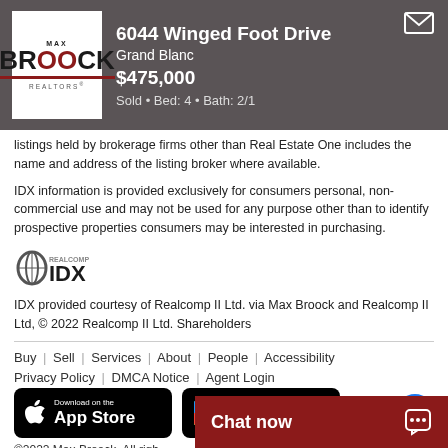6044 Winged Foot Drive Grand Blanc $475,000 Sold • Bed: 4 • Bath: 2/1
listings held by brokerage firms other than Real Estate One includes the name and address of the listing broker where available.
IDX information is provided exclusively for consumers personal, non-commercial use and may not be used for any purpose other than to identify prospective properties consumers may be interested in purchasing.
[Figure (logo): Realcomp IDX logo]
IDX provided courtesy of Realcomp II Ltd. via Max Broock and Realcomp II Ltd, © 2022 Realcomp II Ltd. Shareholders
Buy | Sell | Services | About | People | Accessibility Privacy Policy | DMCA Notice | Agent Login ©2022 Max Broock. All rights reserved.